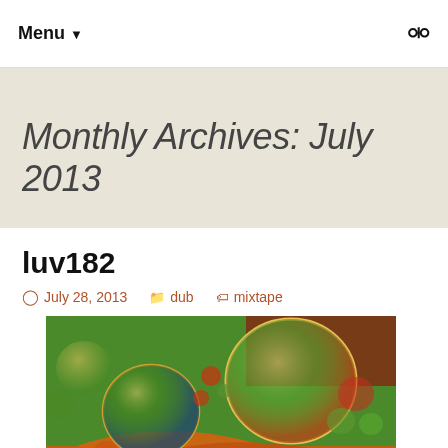Menu ▼
Monthly Archives: July 2013
luv182
July 28, 2013   dub   mixtape
[Figure (photo): Macro photograph of colorful oil bubbles on water with green, red, orange and blue reflections]